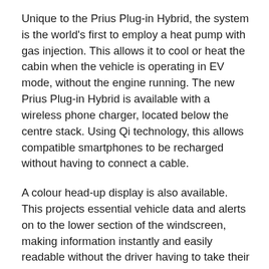Unique to the Prius Plug-in Hybrid, the system is the world's first to employ a heat pump with gas injection. This allows it to cool or heat the cabin when the vehicle is operating in EV mode, without the engine running. The new Prius Plug-in Hybrid is available with a wireless phone charger, located below the centre stack. Using Qi technology, this allows compatible smartphones to be recharged without having to connect a cable.
A colour head-up display is also available. This projects essential vehicle data and alerts on to the lower section of the windscreen, making information instantly and easily readable without the driver having to take their eyes off the road ahead. Content includes vehicle speed, the state of battery charge, hybrid system status, Adaptive Cruise Control with Full Speed Range Following Function setting and Lane Departure Alert.
The new Prius Plug-in Hybrid further features Toyota's new Simple Intelligent Parking Assist (S-IPA) system, which uses an array of sensors to identify a viable